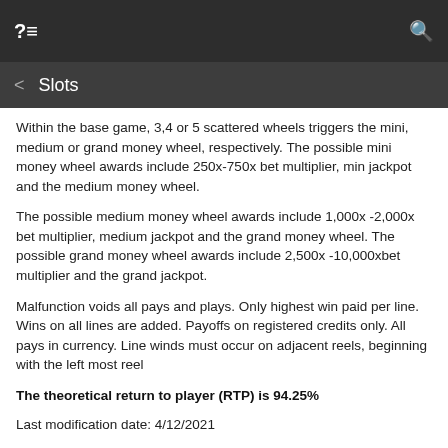?≡   Slots   🔍
Within the base game, 3,4 or 5 scattered wheels triggers the mini, medium or grand money wheel, respectively.  The possible mini money wheel awards include 250x-750x bet multiplier, min jackpot and the medium money wheel.
The possible medium money wheel awards include 1,000x -2,000x bet multiplier, medium jackpot and the grand money wheel.  The possible grand money wheel awards include 2,500x -10,000xbet multiplier and the grand jackpot.
Malfunction voids all pays and plays.  Only highest win paid per line. Wins on all lines are added.  Payoffs on registered credits only.  All pays in currency.  Line winds must occur on adjacent reels, beginning with the left most reel
The theoretical return to player (RTP) is 94.25%
Last modification date: 4/12/2021